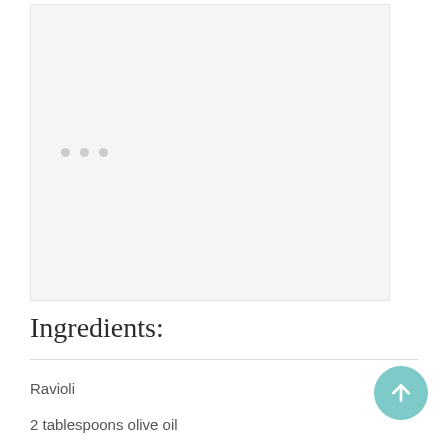[Figure (photo): Large image placeholder with light gray background and three small gray dots indicating a loading or carousel state]
Ingredients:
Ravioli
2 tablespoons olive oil